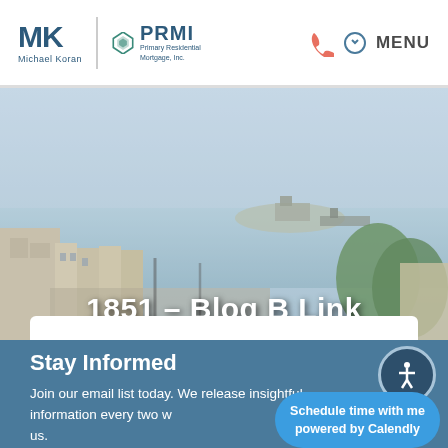MK Michael Koran | PRMI Primary Residential Mortgage, Inc. | MENU
[Figure (photo): Aerial/elevated view of San Francisco cityscape with Alcatraz Island visible in the bay background, hazy sky, Victorian buildings and green trees on the right]
1851 – Blog B Link
Stay Informed
Join our email list today. We release insightful information every two weeks. You'll hear directly from us.
Schedule time with me powered by Calendly